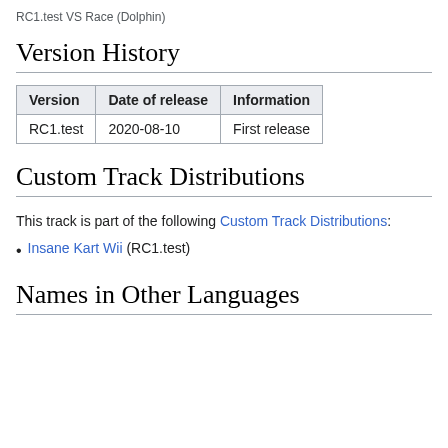RC1.test VS Race (Dolphin)
Version History
| Version | Date of release | Information |
| --- | --- | --- |
| RC1.test | 2020-08-10 | First release |
Custom Track Distributions
This track is part of the following Custom Track Distributions:
Insane Kart Wii (RC1.test)
Names in Other Languages